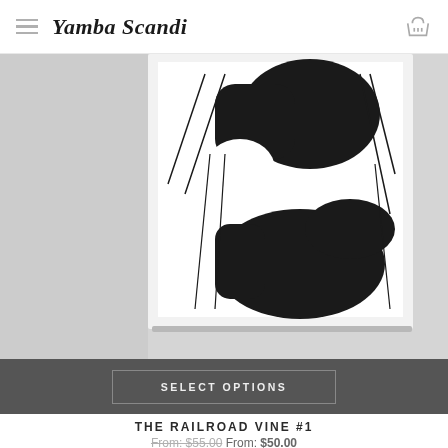Yamba Scandi
[Figure (photo): Abstract black and white art print titled 'The Railroad Vine #1', showing large black organic shapes with diagonal lines on a white background, displayed as a framed print on a light grey wall]
SELECT OPTIONS
THE RAILROAD VINE #1
From: $55.00 From: $50.00